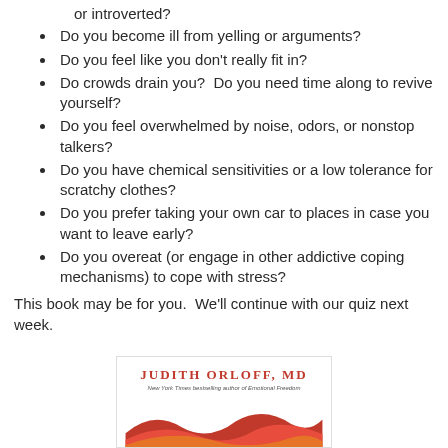or introverted?
Do you become ill from yelling or arguments?
Do you feel like you don't really fit in?
Do crowds drain you?  Do you need time along to revive yourself?
Do you feel overwhelmed by noise, odors, or nonstop talkers?
Do you have chemical sensitivities or a low tolerance for scratchy clothes?
Do you prefer taking your own car to places in case you want to leave early?
Do you overeat (or engage in other addictive coping mechanisms) to cope with stress?
This book may be for you.  We'll continue with our quiz next week.
[Figure (illustration): Book cover by Judith Orloff, MD — New York Times bestselling author of Emotional Freedom, with red/orange wave design at bottom]